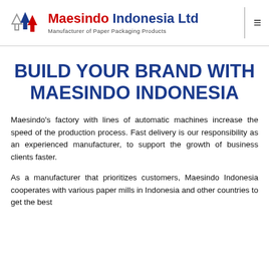Maesindo Indonesia Ltd — Manufacturer of Paper Packaging Products
BUILD YOUR BRAND WITH MAESINDO INDONESIA
Maesindo's factory with lines of automatic machines increase the speed of the production process. Fast delivery is our responsibility as an experienced manufacturer, to support the growth of business clients faster.
As a manufacturer that prioritizes customers, Maesindo Indonesia cooperates with various paper mills in Indonesia and other countries to get the best